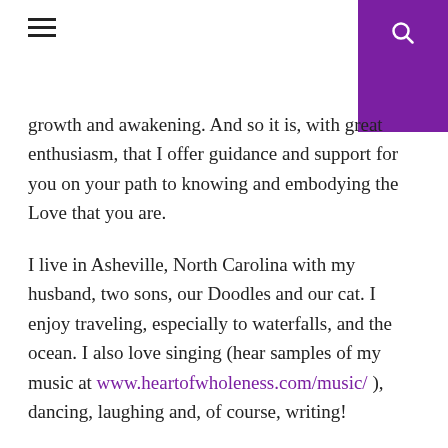≡ [hamburger menu] | [search icon]
growth and awakening. And so it is, with great enthusiasm, that I offer guidance and support for you on your path to knowing and embodying the Love that you are.
I live in Asheville, North Carolina with my husband, two sons, our Doodles and our cat. I enjoy traveling, especially to waterfalls, and the ocean. I also love singing (hear samples of my music at www.heartofwholeness.com/music/ ), dancing, laughing and, of course, writing!
I am involved with a community of healers who share a love for humanity awakening to our divinity.